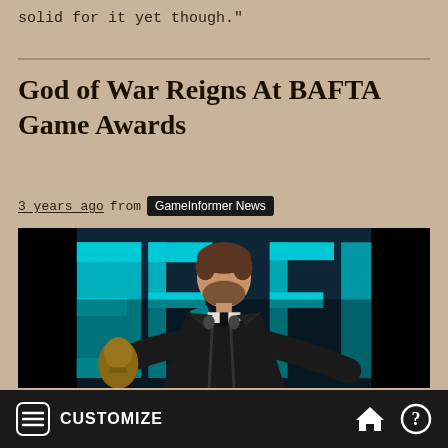solid for it yet though."
God of War Reigns At BAFTA Game Awards
3 years ago from GameInformer News
[Figure (photo): A man in a dark suit holding a BAFTA award trophy at a podium with microphones, smiling, with a blue LED-lit background showing partial letters 'ER FO']
CUSTOMIZE